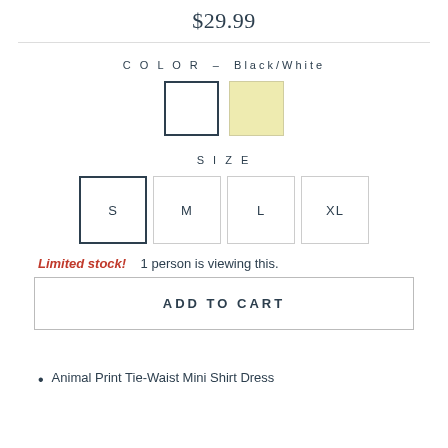$29.99
COLOR — Black/White
[Figure (other): Two color swatches: white with dark border (selected) and cream/light yellow]
SIZE
[Figure (other): Four size buttons: S (selected, dark border), M, L, XL]
Limited stock!   1 person is viewing this.
ADD TO CART
Animal Print Tie-Waist Mini Shirt Dress